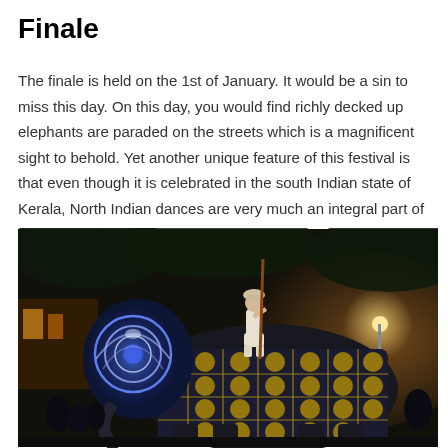Finale
The finale is held on the 1st of January. It would be a sin to miss this day. On this day, you would find richly decked up elephants are paraded on the streets which is a magnificent sight to behold. Yet another unique feature of this festival is that even though it is celebrated in the south Indian state of Kerala, North Indian dances are very much an integral part of the procession.
[Figure (photo): Nighttime photo of a richly decorated elephant covered in ornate blue and gold embroidered cloth with circular motifs, with a person (mahout) sitting on top holding a long pole/staff, surrounded by festival crowds and warm ambient lighting.]